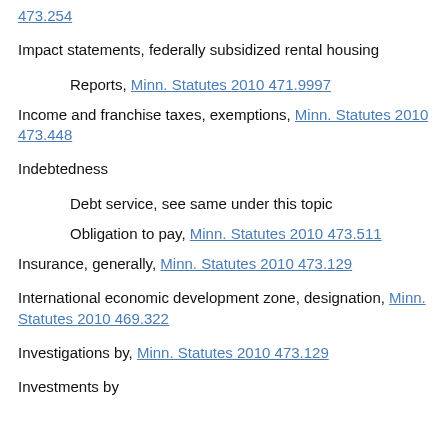473.254
Impact statements, federally subsidized rental housing
Reports, Minn. Statutes 2010 471.9997
Income and franchise taxes, exemptions, Minn. Statutes 2010 473.448
Indebtedness
Debt service, see same under this topic
Obligation to pay, Minn. Statutes 2010 473.511
Insurance, generally, Minn. Statutes 2010 473.129
International economic development zone, designation, Minn. Statutes 2010 469.322
Investigations by, Minn. Statutes 2010 473.129
Investments by